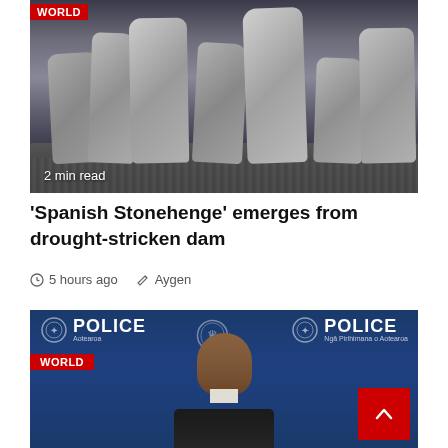[Figure (photo): Aerial/ground-level view of large stone formations resembling Stonehenge, with gravel ground, dark moody sky background. Badge 'WORLD' in red top-left. '2 min read' text overlay bottom-left.]
'Spanish Stonehenge' emerges from drought-stricken dam
5 hours ago   Aygen
[Figure (photo): Man in a dark suit standing in front of New Zealand Police backdrop with blue background and police logos. Red 'WORLD' badge overlay top-left.]